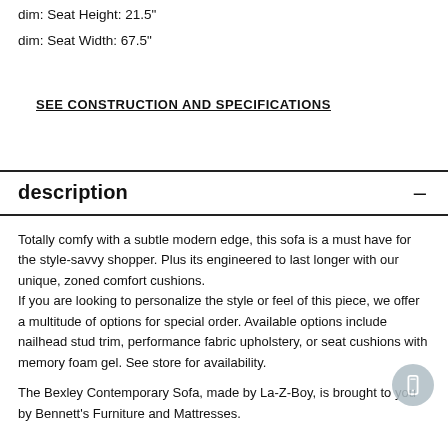dim: Seat Height: 21.5"
dim: Seat Width: 67.5"
SEE CONSTRUCTION AND SPECIFICATIONS
description
Totally comfy with a subtle modern edge, this sofa is a must have for the style-savvy shopper. Plus its engineered to last longer with our unique, zoned comfort cushions.
If you are looking to personalize the style or feel of this piece, we offer a multitude of options for special order. Available options include nailhead stud trim, performance fabric upholstery, or seat cushions with memory foam gel. See store for availability.
The Bexley Contemporary Sofa, made by La-Z-Boy, is brought to you by Bennett's Furniture and Mattresses.